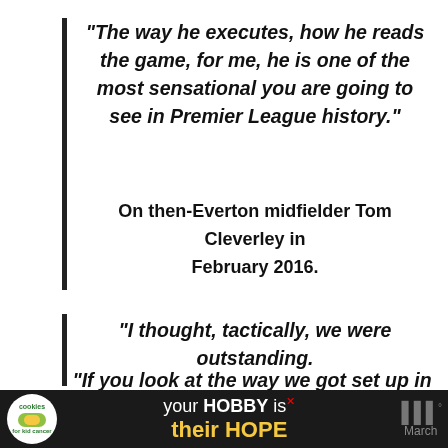“The way he executes, how he reads the game, for me, he is one of the most sensational you are going to see in Premier League history.”
On then-Everton midfielder Tom Cleverley in February 2016.
“I thought, tactically, we were outstanding.
“If you look at the way we got set up in the second half, we were the better side and I think we showed an incredible tactical understanding and character.”
[Figure (other): Advertisement banner at the bottom: cookies for kid cancer logo on left, 'your HOBBY is their HOPE' ad text in center, close button X, and March logo on right]